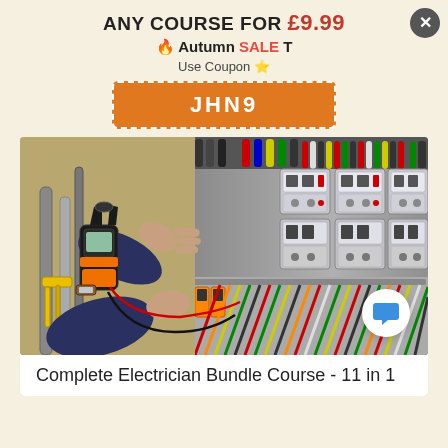ANY COURSE FOR £9.99
🔥 Autumn SALE T
Use Coupon 🌟
JHN9
[Figure (photo): A person holding a clamp meter/multimeter with orange handles, testing wires in an electrical panel with contactors and colorful cables.]
Complete Electrician Bundle Course - 11 in 1